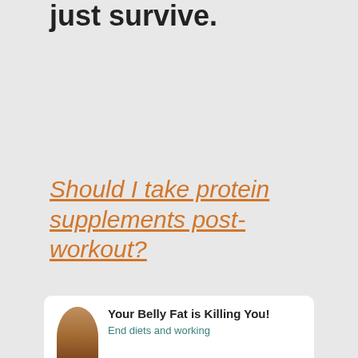just survive.
Should I take protein supplements post-workout?
Your Belly Fat is Killing You! End diets and working